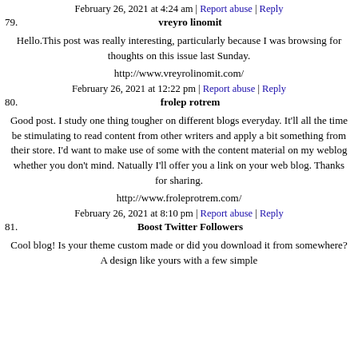February 26, 2021 at 4:24 am | Report abuse | Reply
79. vreyro linomit
Hello.This post was really interesting, particularly because I was browsing for thoughts on this issue last Sunday.
http://www.vreyrolinomit.com/
February 26, 2021 at 12:22 pm | Report abuse | Reply
80. frolep rotrem
Good post. I study one thing tougher on different blogs everyday. It'll all the time be stimulating to read content from other writers and apply a bit something from their store. I'd want to make use of some with the content material on my weblog whether you don't mind. Natually I'll offer you a link on your web blog. Thanks for sharing.
http://www.froleprotrem.com/
February 26, 2021 at 8:10 pm | Report abuse | Reply
81. Boost Twitter Followers
Cool blog! Is your theme custom made or did you download it from somewhere? A design like yours with a few simple